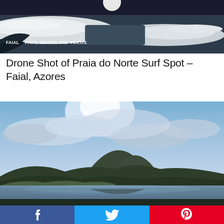[Figure (photo): Aerial drone shot of Praia do Norte surf spot showing white ocean waves and rocky shoreline in Faial, Azores]
FAIAL   FAIAL IMAGES AND VIDEOS
Drone Shot of Praia do Norte Surf Spot – Faial, Azores
[Figure (photo): Landscape photo of a mountain reflected in a calm lake with blue sky and clouds, Faial, Azores]
[Figure (infographic): Social media share bar with Facebook, Twitter, and Pinterest buttons]